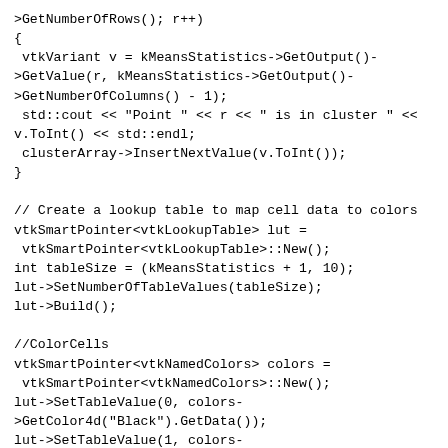>GetNumberOfRows(); r++)
{
 vtkVariant v = kMeansStatistics->GetOutput()-
>GetValue(r, kMeansStatistics->GetOutput()-
>GetNumberOfColumns() - 1);
 std::cout << "Point " << r << " is in cluster " <<
v.ToInt() << std::endl;
 clusterArray->InsertNextValue(v.ToInt());
}

// Create a lookup table to map cell data to colors
vtkSmartPointer<vtkLookupTable> lut =
 vtkSmartPointer<vtkLookupTable>::New();
int tableSize = (kMeansStatistics + 1, 10);
lut->SetNumberOfTableValues(tableSize);
lut->Build();

//ColorCells
vtkSmartPointer<vtkNamedColors> colors =
 vtkSmartPointer<vtkNamedColors>::New();
lut->SetTableValue(0, colors-
>GetColor4d("Black").GetData());
lut->SetTableValue(1, colors-
>GetColor4d("Banana").GetData());
lut->SetTableValue(2, colors-
>GetColor4d("Tomato").GetData());
lut->SetTableValue(3, colors-
>GetColor4d("Peacock").GetData());
lut->SetTableValue(4, colors-
>GetColor4d("Lavender").GetData());